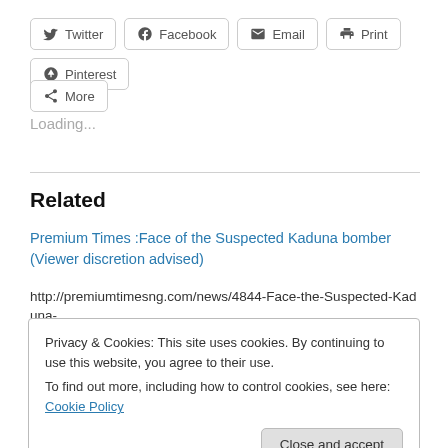[Figure (screenshot): Social share buttons: Twitter, Facebook, Email, Print, Pinterest, More]
Loading...
Related
Premium Times :Face of the Suspected Kaduna bomber (Viewer discretion advised)
http://premiumtimesng.com/news/4844-Face-the-Suspected-Kaduna-bomber-Viewer-discretion-advised.html
Privacy & Cookies: This site uses cookies. By continuing to use this website, you agree to their use.
To find out more, including how to control cookies, see here: Cookie Policy
[Figure (photo): Bottom image strip partially visible]